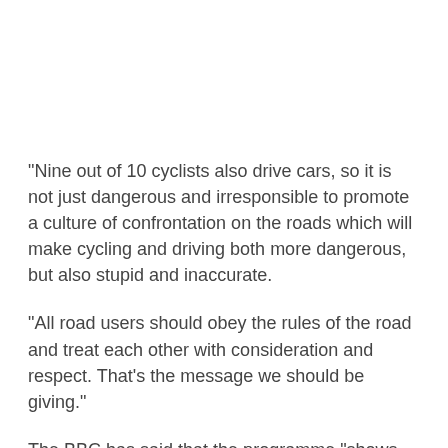"Nine out of 10 cyclists also drive cars, so it is not just dangerous and irresponsible to promote a culture of confrontation on the roads which will make cycling and driving both more dangerous, but also stupid and inaccurate.
"All road users should obey the rules of the road and treat each other with consideration and respect. That's the message we should be giving."
The BBC has said that the programme "shows both sides of the story, retelling dramatic incidents from both the